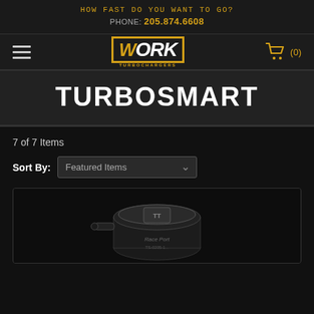HOW FAST DO YOU WANT TO GO?
PHONE: 205.874.6608
[Figure (logo): WORK Turbochargers logo in gold/yellow italic bold font with border, hamburger menu icon on left, cart icon with (0) on right]
TURBOSMART
7 of 7 Items
Sort By: Featured Items
[Figure (photo): Black Turbosmart RacePort blow-off valve / wastegate product shown on dark background, bottom portion of the product visible]